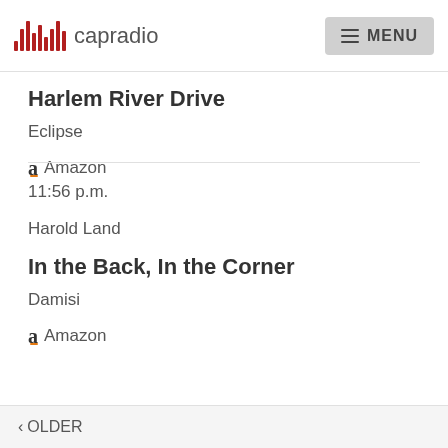capradio — MENU
Harlem River Drive
Eclipse
Amazon
11:56 p.m.
Harold Land
In the Back, In the Corner
Damisi
Amazon
< OLDER